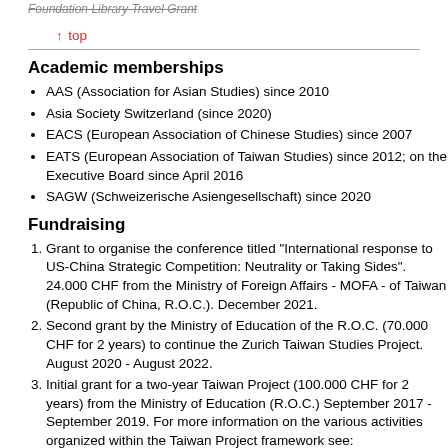Foundation Library Travel Grant
↑ top
Academic memberships
AAS (Association for Asian Studies) since 2010
Asia Society Switzerland (since 2020)
EACS (European Association of Chinese Studies) since 2007
EATS (European Association of Taiwan Studies) since 2012; on the Executive Board since April 2016
SAGW (Schweizerische Asiengesellschaft) since 2020
Fundraising
Grant to organise the conference titled "International response to US-China Strategic Competition: Neutrality or Taking Sides". 24.000 CHF from the Ministry of Foreign Affairs - MOFA - of Taiwan (Republic of China, R.O.C.). December 2021.
Second grant by the Ministry of Education of the R.O.C. (70.000 CHF for 2 years) to continue the Zurich Taiwan Studies Project. August 2020 - August 2022.
Initial grant for a two-year Taiwan Project (100.000 CHF for 2 years) from the Ministry of Education (R.O.C.) September 2017 - September 2019. For more information on the various activities organized within the Taiwan Project framework see: